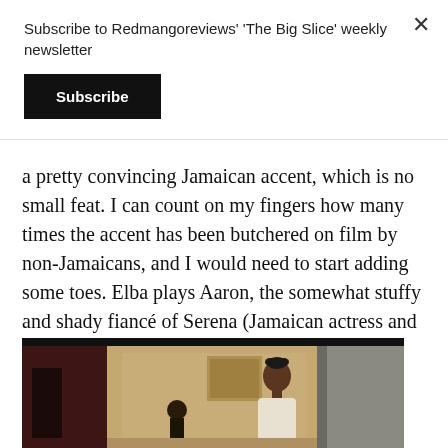Subscribe to Redmangoreviews' 'The Big Slice' weekly newsletter
Subscribe
a pretty convincing Jamaican accent, which is no small feat. I can count on my fingers how many times the accent has been butchered on film by non-Jamaicans, and I would need to start adding some toes. Elba plays Aaron, the somewhat stuffy and shady fiancé of Serena (Jamaican actress and reggae/dancehall vocalist Cherine Anderson).
[Figure (photo): A scene from a film showing a young woman in a white top standing in what appears to be an indoor setting, with another person partially visible to her left.]